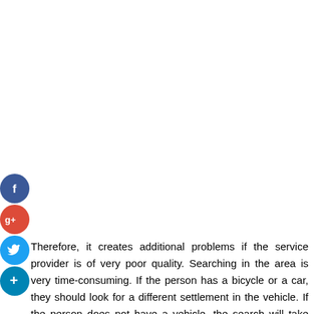[Figure (other): Four social media icon circles stacked vertically on the left side: Facebook (blue), Google+ (red), Twitter (blue), and a plus/share button (blue)]
Therefore, it creates additional problems if the service provider is of very poor quality. Searching in the area is very time-consuming. If the person has a bicycle or a car, they should look for a different settlement in the vehicle. If the person does not have a vehicle, the search will take more time and effort.